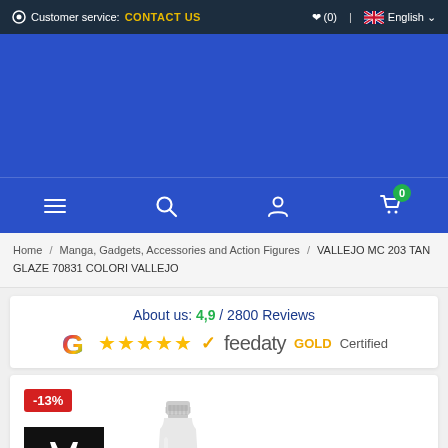Customer service: CONTACT US | (0) | English
[Figure (screenshot): Blue banner / header area of e-commerce website]
[Figure (infographic): Navigation bar with hamburger menu, search, account, and cart icons (badge showing 0)]
Home / Manga, Gadgets, Accessories and Action Figures / VALLEJO MC 203 TAN GLAZE 70831 COLORI VALLEJO
About us: 4,9 / 2800 Reviews — Google 5 stars — feedaty GOLD Certified
[Figure (photo): Product page showing Vallejo paint bottle with -13% discount badge, Vallejo AV logo and paint bottle illustration]